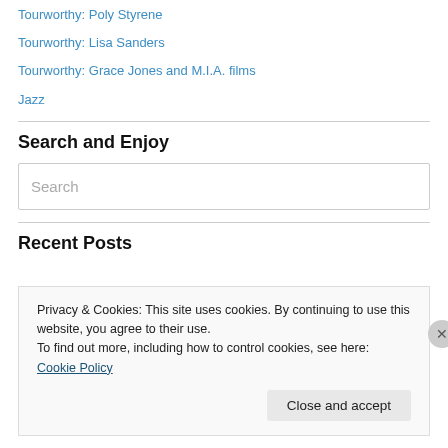Tourworthy: Poly Styrene
Tourworthy: Lisa Sanders
Tourworthy: Grace Jones and M.I.A. films
Jazz
Search and Enjoy
Search
Recent Posts
Privacy & Cookies: This site uses cookies. By continuing to use this website, you agree to their use.
To find out more, including how to control cookies, see here: Cookie Policy
Close and accept